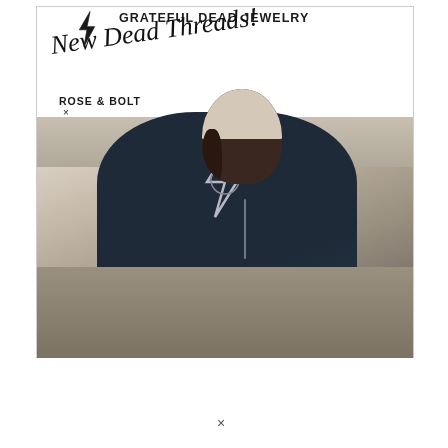[Figure (photo): Promotional image for Grateful Dead Jewelry featuring a woman wearing a dark navy sweatshirt with a lightning bolt and rose graphic, a knit beanie hat, and a necklace. She is posing outdoors against rocky terrain. Overlaid text reads: GRATEFUL DEAD JEWELRY, New Dead Threads!, ROSE & BOLT x little hippie x Grateful Dead. A lightning bolt logo appears in the top left.]
×